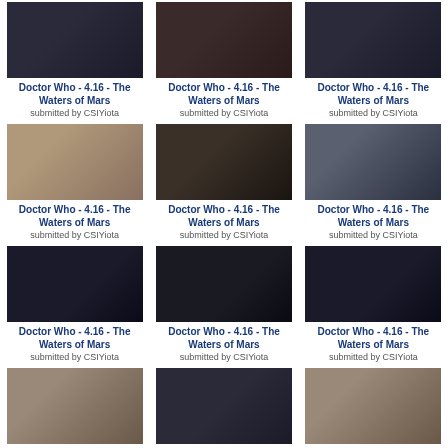[Figure (screenshot): Grid of video thumbnails from Doctor Who 4.16 - The Waters of Mars, submitted by CSIYiota]
Doctor Who - 4.16 - The Waters of Mars
submitted by CSIYiota
Doctor Who - 4.16 - The Waters of Mars
submitted by CSIYiota
Doctor Who - 4.16 - The Waters of Mars
submitted by CSIYiota
Doctor Who - 4.16 - The Waters of Mars
submitted by CSIYiota
Doctor Who - 4.16 - The Waters of Mars
submitted by CSIYiota
Doctor Who - 4.16 - The Waters of Mars
submitted by CSIYiota
Doctor Who - 4.16 - The Waters of Mars
submitted by CSIYiota
Doctor Who - 4.16 - The Waters of Mars
submitted by CSIYiota
Doctor Who - 4.16 - The Waters of Mars
submitted by CSIYiota
Doctor Who - 4.16 - The Waters of Mars
submitted by CSIYiota
Doctor Who - 4.16 - The Waters of Mars
submitted by CSIYiota
Doctor Who - 4.16 - The Waters of Mars
submitted by CSIYiota